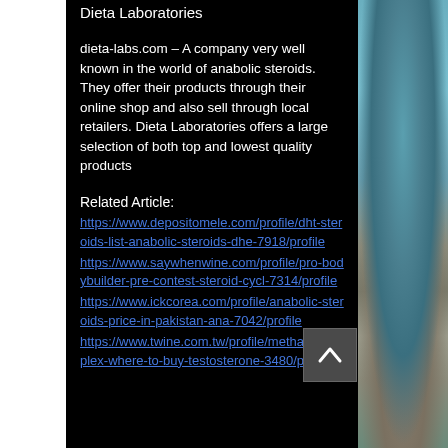Dieta Laboratories
dieta-labs.com – A company very well known in the world of anabolic steroids. They offer their products through their online shop and also sell through local retailers. Dieta Laboratories offers a large selection of both top and lowest quality products
Related Article:
https://www.depositomele.com/profile/dht-steroids-list-anabolic-steroids-dhe-7918/profile
https://www.saywhenwine.com/profile/pro-bodybuilder-pre-contest-steroid-cycl-7314/profile
https://www.ickcorea.com/profile/anabolic-steroids-price-in-pakistan-ana-7042/profile
https://www.twine.com.tw/profile/methandropplex-where-to-buy-testosterone-3480/profile
[Figure (other): Coastal landscape photo showing sea and rocky shore, displayed as a right-side strip]